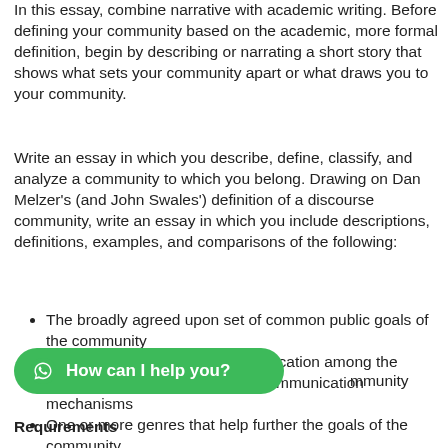In this essay, combine narrative with academic writing. Before defining your community based on the academic, more formal definition, begin by describing or narrating a short story that shows what sets your community apart or what draws you to your community.
Write an essay in which you describe, define, classify, and analyze a community to which you belong. Drawing on Dan Melzer's (and John Swales') definition of a discourse community, write an essay in which you include descriptions, definitions, examples, and comparisons of the following:
The broadly agreed upon set of common public goals of the community
The mechanisms of intercommunication among the members and the use of those communication mechanisms
One or more genres that help further the goals of the community
munity
Requirements